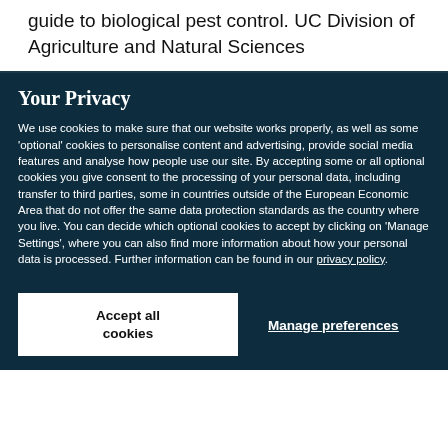guide to biological pest control. UC Division of Agriculture and Natural Sciences
Your Privacy
We use cookies to make sure that our website works properly, as well as some 'optional' cookies to personalise content and advertising, provide social media features and analyse how people use our site. By accepting some or all optional cookies you give consent to the processing of your personal data, including transfer to third parties, some in countries outside of the European Economic Area that do not offer the same data protection standards as the country where you live. You can decide which optional cookies to accept by clicking on 'Manage Settings', where you can also find more information about how your personal data is processed. Further information can be found in our privacy policy.
Accept all cookies
Manage preferences